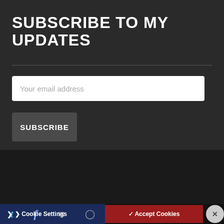SUBSCRIBE TO MY UPDATES
Your email address
SUBSCRIBE
Important Privacy Information
I use cookies to personalise content and to analyse my traffic. Please click to accept if you are happy to proceed or use the cookie settings link for more information. Closing this panel accepts all cookies. You can review the cookies I use at any time by going to the cookies link in the main menu.
Cookie Settings
Accept Cookies